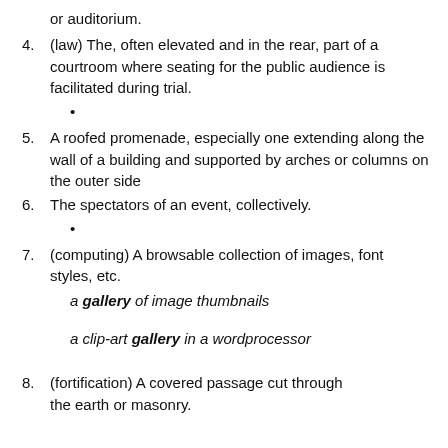or auditorium.
4. (law) The, often elevated and in the rear, part of a courtroom where seating for the public audience is facilitated during trial.
•
5. A roofed promenade, especially one extending along the wall of a building and supported by arches or columns on the outer side
6. The spectators of an event, collectively.
•
7. (computing) A browsable collection of images, font styles, etc.
a gallery of image thumbnails
a clip-art gallery in a wordprocessor
8. (fortification) A covered passage cut through the earth or masonry.